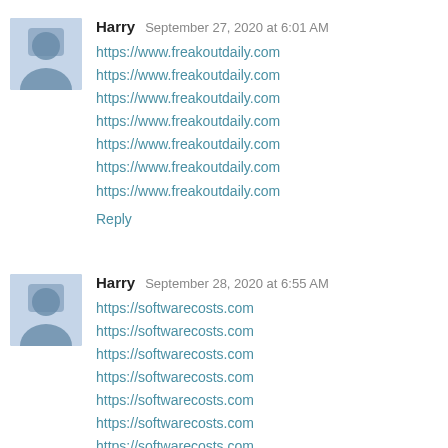Harry  September 27, 2020 at 6:01 AM
https://www.freakoutdaily.com
https://www.freakoutdaily.com
https://www.freakoutdaily.com
https://www.freakoutdaily.com
https://www.freakoutdaily.com
https://www.freakoutdaily.com
https://www.freakoutdaily.com
Reply
Harry  September 28, 2020 at 6:55 AM
https://softwarecosts.com
https://softwarecosts.com
https://softwarecosts.com
https://softwarecosts.com
https://softwarecosts.com
https://softwarecosts.com
https://softwarecosts.com
Reply